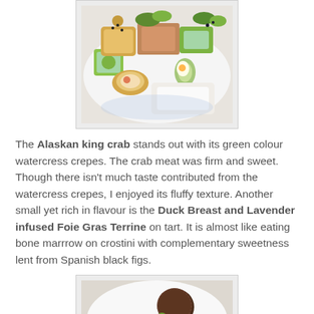[Figure (photo): Plate of various canapés and appetizers including Alaskan king crab in green watercress crepes, Duck Breast and Lavender infused Foie Gras Terrine on tart, and other bite-sized dishes arranged on a white plate.]
The Alaskan king crab stands out with its green colour watercress crepes. The crab meat was firm and sweet. Though there isn't much taste contributed from the watercress crepes, I enjoyed its fluffy texture. Another small yet rich in flavour is the Duck Breast and Lavender infused Foie Gras Terrine on tart. It is almost like eating bone marrrow on crostini with complementary sweetness lent from Spanish black figs.
[Figure (photo): Dessert plate with dark chocolate spheres and other components on a white plate, partially visible at bottom of page.]